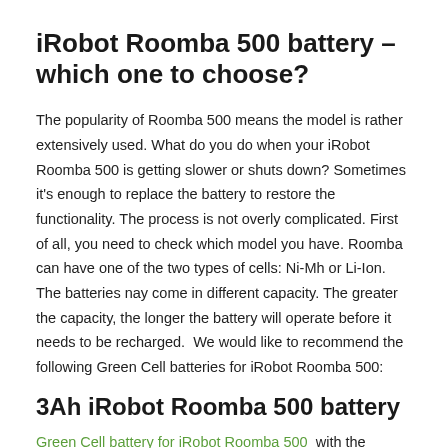iRobot Roomba 500 battery – which one to choose?
The popularity of Roomba 500 means the model is rather extensively used. What do you do when your iRobot Roomba 500 is getting slower or shuts down? Sometimes it's enough to replace the battery to restore the functionality. The process is not overly complicated. First of all, you need to check which model you have. Roomba can have one of the two types of cells: Ni-Mh or Li-Ion. The batteries nay come in different capacity. The greater the capacity, the longer the battery will operate before it needs to be recharged.  We would like to recommend the following Green Cell batteries for iRobot Roomba 500:
3Ah iRobot Roomba 500 battery
Green Cell battery for iRobot Roomba 500  with the capacity